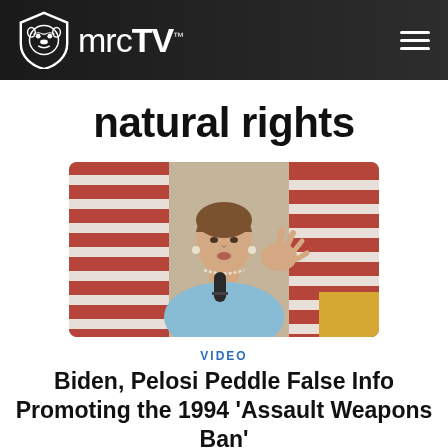mrcTV
natural rights
[Figure (photo): A woman in a light blue blazer speaking into a microphone, gesturing with her right hand, in front of American flags]
VIDEO
Biden, Pelosi Peddle False Info Promoting the 1994 'Assault Weapons Ban'
R. GARDNER GOLDSMITH